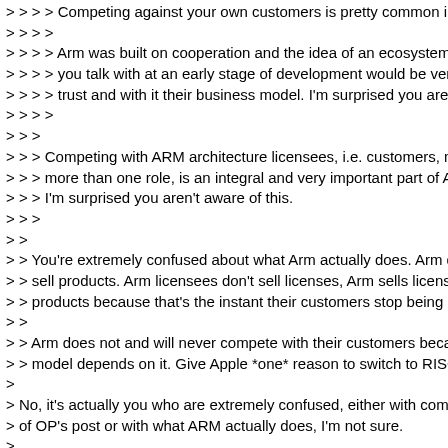> > > > Competing against your own customers is pretty common i...
> > > >
> > > > Arm was built on cooperation and the idea of an ecosystem. C...
> > > > you talk with at an early stage of development would be very...
> > > > trust and with it their business model. I'm surprised you aren't...
> > > >
> > >
> > > Competing with ARM architecture licensees, i.e. customers, mo...
> > > more than one role, is an integral and very important part of Ar...
> > > I'm surprised you aren't aware of this.
> > >
> >
> > You're extremely confused about what Arm actually does. Arm do...
> > sell products. Arm licensees don't sell licenses, Arm sells licenses...
> > products because that's the instant their customers stop being ha...
> >
> > Arm does not and will never compete with their customers becaus...
> > model depends on it. Give Apple *one* reason to switch to RISCV...
>
> No, it's actually you who are extremely confused, either with compr...
> of OP's post or with what ARM actually does, I'm not sure.
>
FYI, this was the original point of discussion:
"Arm is NOT Intel or IBM, it cannot and will not sell chips or laptops o...
Then somebody asked "Why not?"